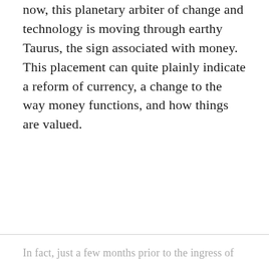now, this planetary arbiter of change and technology is moving through earthy Taurus, the sign associated with money. This placement can quite plainly indicate a reform of currency, a change to the way money functions, and how things are valued.
In fact, just a few months prior to the ingress of